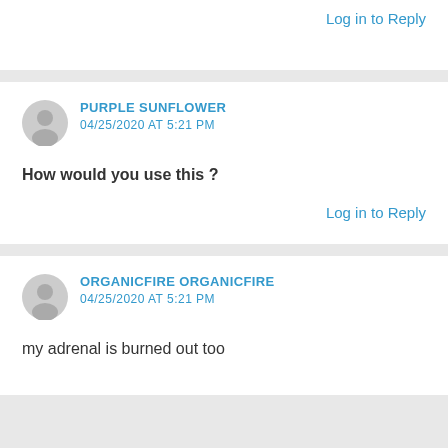Log in to Reply
PURPLE SUNFLOWER
04/25/2020 AT 5:21 PM
How would you use this ?
Log in to Reply
ORGANICFIRE ORGANICFIRE
04/25/2020 AT 5:21 PM
my adrenal is burned out too